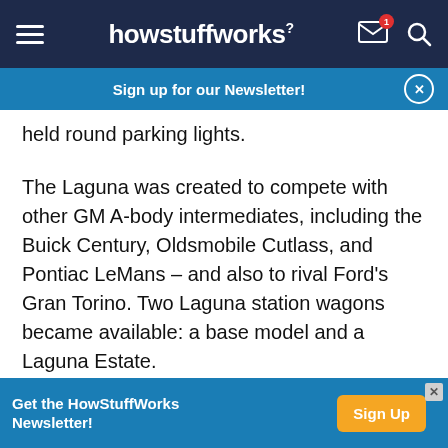howstuffworks
Sign up for our Newsletter!
held round parking lights.
The Laguna was created to compete with other GM A-body intermediates, including the Buick Century, Oldsmobile Cutlass, and Pontiac LeMans – and also to rival Ford's Gran Torino. Two Laguna station wagons became available: a base model and a Laguna Estate.
A Super Sport coupe remained available, but
Get the HowStuffWorks Newsletter!